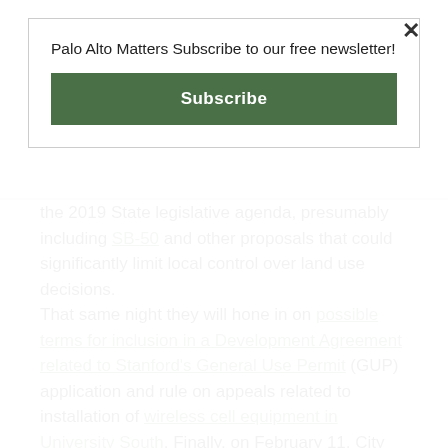Palo Alto Matters Subscribe to our free newsletter!
Subscribe
the 2019 State legislative agenda, presumably including SB-50 and other proposals that could significantly limit local control over land use decisions.
That same night they will hone in on possible terms for inclusion in a Development Agreement related to Stanford's General Use Permit (GUP) application and rule on appeals related to installation of wireless cell equipment in University South. Finally, on February 11, City Council is tentatively set to consider repeal of the Downtown Commercial Cap